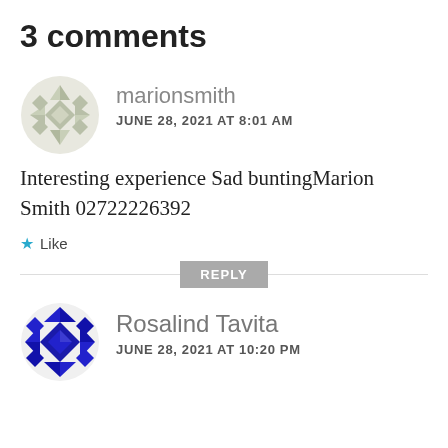3 comments
marionsmith
JUNE 28, 2021 AT 8:01 AM
Interesting experience Sad buntingMarion Smith 02722226392
★ Like
REPLY
Rosalind Tavita
JUNE 28, 2021 AT 10:20 PM